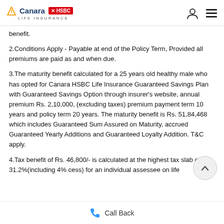Canara HSBC Life Insurance
benefit.
2.Conditions Apply - Payable at end of the Policy Term, Provided all premiums are paid as and when due.
3.The maturity benefit calculated for a 25 years old healthy male who has opted for Canara HSBC Life Insurance Guaranteed Savings Plan with Guaranteed Savings Option through insurer's website, annual premium Rs. 2,10,000, (excluding taxes) premium payment term 10 years and policy term 20 years. The maturity benefit is Rs. 51,84,468 which includes Guaranteed Sum Assured on Maturity, accrued Guaranteed Yearly Additions and Guaranteed Loyalty Addition. T&C apply.
4.Tax benefit of Rs. 46,800/- is calculated at the highest tax slab of 31.2%(including 4% cess) for an individual assessee on life
Call Back